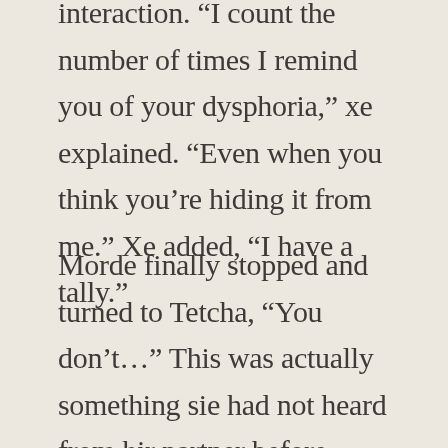interaction. “I count the number of times I remind you of your dysphoria,” xe explained. “Even when you think you’re hiding it from me.” Xe added, “I have a tally.”
Morde finally stopped and turned to Tetcha, “You don’t…” This was actually something sie had not heard from hir partner before. “Really? You’ve never mentioned…” Sie didn’t know what to make of it, but reflexively chose a way to treat it. To try to respect Tetcha, “Seriously, Tetcha, don’t do that to